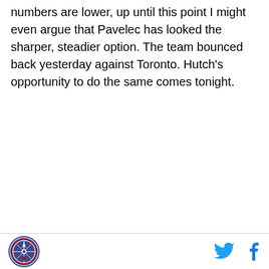numbers are lower, up until this point I might even argue that Pavelec has looked the sharper, steadier option. The team bounced back yesterday against Toronto. Hutch's opportunity to do the same comes tonight.
[logo] [twitter] [facebook]